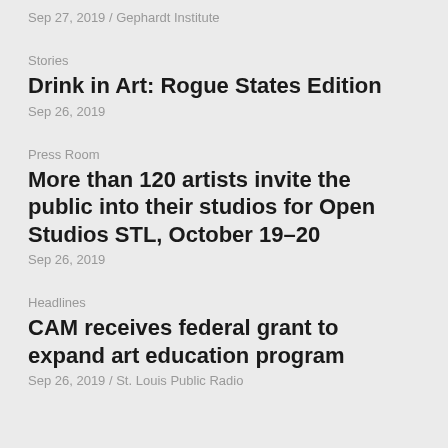Sep 27, 2019 / Gephardt Institute
Stories
Drink in Art: Rogue States Edition
Sep 26, 2019
Press Room
More than 120 artists invite the public into their studios for Open Studios STL, October 19–20
Sep 26, 2019
Headlines
CAM receives federal grant to expand art education program
Sep 26, 2019 / St. Louis Public Radio